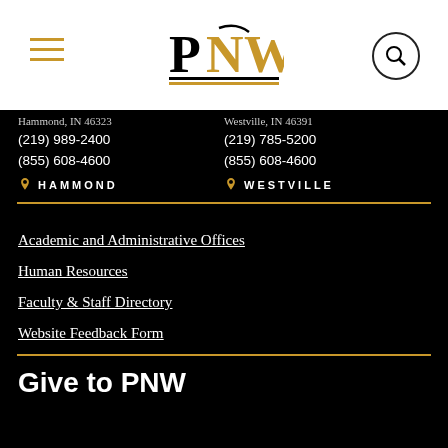[Figure (logo): PNW (Purdue University Northwest) logo in black and gold on white navigation bar with hamburger menu on left and search button on right]
(219) 989-2400
(855) 608-4600
HAMMOND
(219) 785-5200
(855) 608-4600
WESTVILLE
Academic and Administrative Offices
Human Resources
Faculty & Staff Directory
Website Feedback Form
Give to PNW